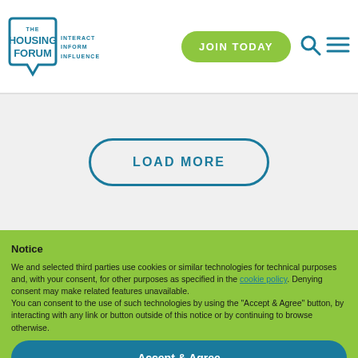THE HOUSING FORUM — INTERACT INFORM INFLUENCE | JOIN TODAY
[Figure (logo): The Housing Forum logo with speech bubble icon and text: THE HOUSING FORUM, INTERACT INFORM INFLUENCE]
LOAD MORE
Notice
We and selected third parties use cookies or similar technologies for technical purposes and, with your consent, for other purposes as specified in the cookie policy. Denying consent may make related features unavailable.
You can consent to the use of such technologies by using the "Accept & Agree" button, by interacting with any link or button outside of this notice or by continuing to browse otherwise.
Accept & Agree